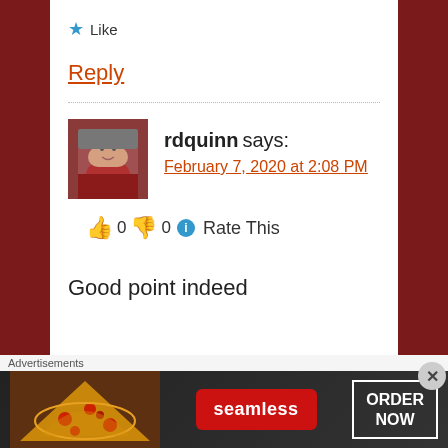★ Like
Reply
rdquinn says:
February 7, 2020 at 2:08 PM
👍 0 👎 0 ℹ Rate This
[Figure (photo): User avatar of rdquinn, a person in a red shirt and cap outdoors]
Good point indeed
Advertisements
[Figure (infographic): Seamless food delivery advertisement banner with pizza image, Seamless logo in red, and ORDER NOW button]